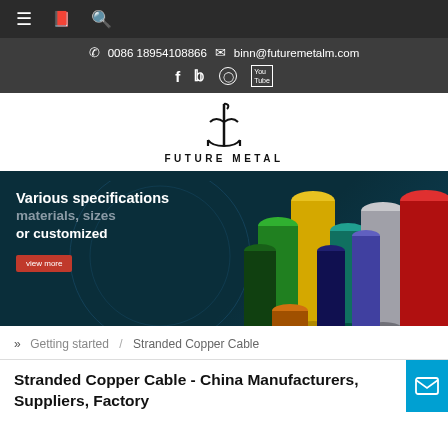Navigation bar with hamburger menu, book icon, search icon
0086 18954108866  binn@futuremetalm.com
[Figure (logo): Future Metal logo with stylized metal bar icon and text FUTURE METAL]
[Figure (infographic): Hero banner: Various specifications materials, sizes or customized. View more button. Colorful metal tubes/cylinders on right side.]
» Getting started / Stranded Copper Cable
Stranded Copper Cable - China Manufacturers, Suppliers, Factory